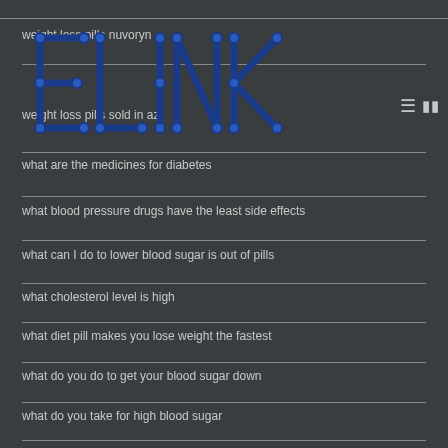weight loss pills nuvoryn
[Figure (logo): ELINK logo in blue connected dot-and-line style lettering]
weight loss pills sold in az
what are the medicines for diabetes
what blood pressure drugs have the least side effects
what can I do to lower blood sugar is out of pills
what cholesterol level is high
what diet pill makes you lose weight the fastest
what do you do to get your blood sugar down
what do you take for high blood sugar
what herbs to lower blood sugar
what is high and lower blood pressure
what is horse drug for male enhancement